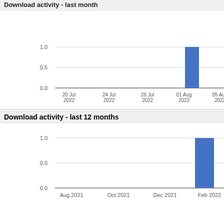[Figure (bar-chart): Download activity - last month]
[Figure (bar-chart): Download activity - last 12 months]